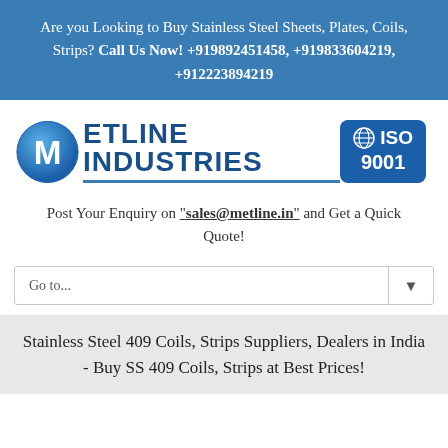Are you Looking to Buy Stainless Steel Sheets, Plates, Coils, Strips? Call Us Now! +919892451458, +919833604219, +912223894219
[Figure (logo): Metline Industries logo with blue circle M icon and ISO 9001 badge]
Post Your Enquiry on "sales@metline.in" and Get a Quick Quote!
Go to...
Stainless Steel 409 Coils, Strips Suppliers, Dealers in India - Buy SS 409 Coils, Strips at Best Prices!